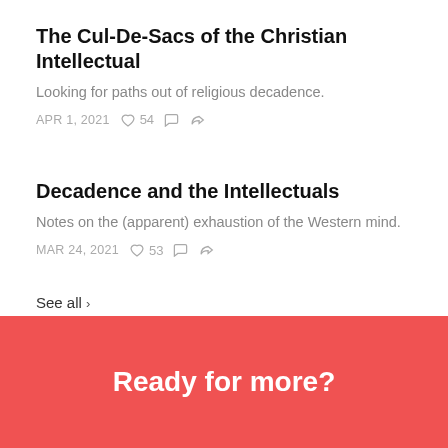The Cul-De-Sacs of the Christian Intellectual
Looking for paths out of religious decadence.
APR 1, 2021  ♡ 54
Decadence and the Intellectuals
Notes on the (apparent) exhaustion of the Western mind.
MAR 24, 2021  ♡ 53
See all ›
Ready for more?